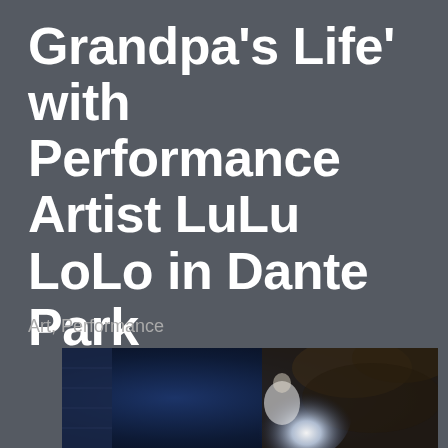Grandpa's Life' with Performance Artist LuLu LoLo in Dante Park
Art, Performance
[Figure (photo): Partial photo visible at bottom of page showing a dark blue and white scene, possibly an outdoor performance at night with bright light]